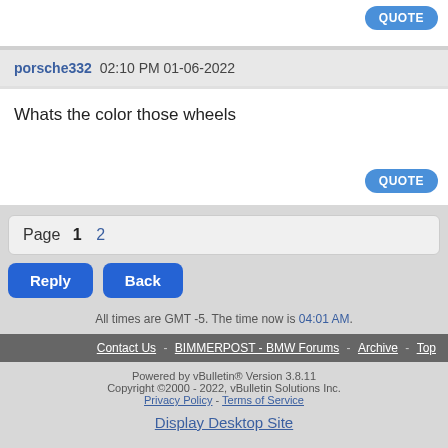QUOTE (button top right)
porsche332 02:10 PM 01-06-2022
Whats the color those wheels
QUOTE (button)
Page 1 2
Reply  Back
All times are GMT -5. The time now is 04:01 AM.
Contact Us - BIMMERPOST - BMW Forums - Archive - Top
Powered by vBulletin® Version 3.8.11
Copyright ©2000 - 2022, vBulletin Solutions Inc.
Privacy Policy - Terms of Service
Display Desktop Site